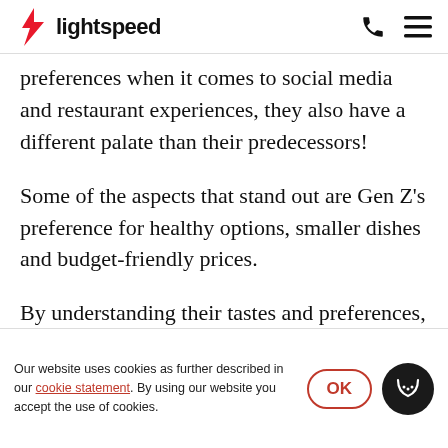lightspeed
preferences when it comes to social media and restaurant experiences, they also have a different palate than their predecessors!
Some of the aspects that stand out are Gen Z’s preference for healthy options, smaller dishes and budget-friendly prices.
By understanding their tastes and preferences, you’ll be able to adapt your current offering to something that can be
Our website uses cookies as further described in our cookie statement. By using our website you accept the use of cookies.